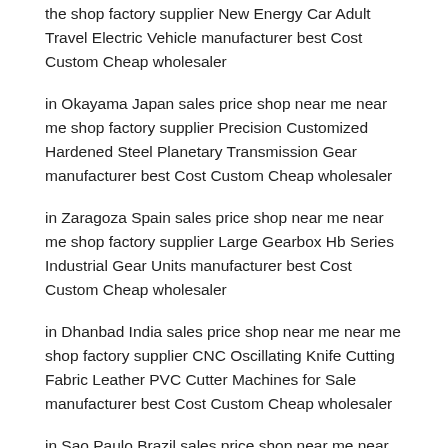the shop factory supplier New Energy Car Adult Travel Electric Vehicle manufacturer best Cost Custom Cheap wholesaler
in Okayama Japan sales price shop near me near me shop factory supplier Precision Customized Hardened Steel Planetary Transmission Gear manufacturer best Cost Custom Cheap wholesaler
in Zaragoza Spain sales price shop near me near me shop factory supplier Large Gearbox Hb Series Industrial Gear Units manufacturer best Cost Custom Cheap wholesaler
in Dhanbad India sales price shop near me near me shop factory supplier CNC Oscillating Knife Cutting Fabric Leather PVC Cutter Machines for Sale manufacturer best Cost Custom Cheap wholesaler
in Sao Paulo Brazil sales price shop near me near me shop factory supplier Flat Wagon Car Inculding General or Container Car, etc manufacturer best